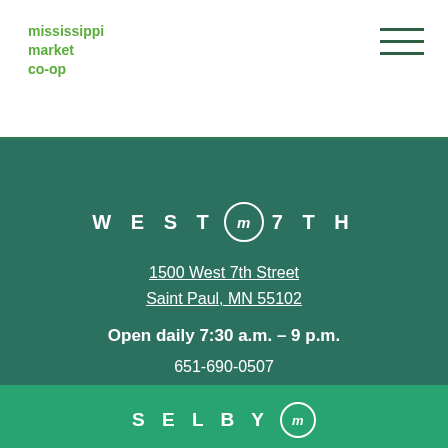mississippi market co-op
WEST 7TH
1500 West 7th Street
Saint Paul, MN 55102
Open daily 7:30 a.m. – 9 p.m.
651-690-0507
SELBY